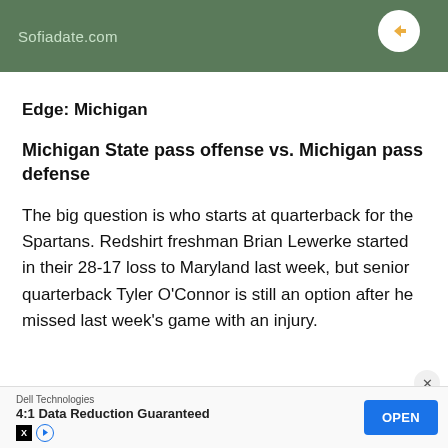[Figure (other): Advertisement banner for Sofiadate.com with green background and circular icon]
Edge: Michigan
Michigan State pass offense vs. Michigan pass defense
The big question is who starts at quarterback for the Spartans. Redshirt freshman Brian Lewerke started in their 28-17 loss to Maryland last week, but senior quarterback Tyler O’Connor is still an option after he missed last week’s game with an injury.
[Figure (other): Dell Technologies advertisement: 4:1 Data Reduction Guaranteed, with OPEN button]